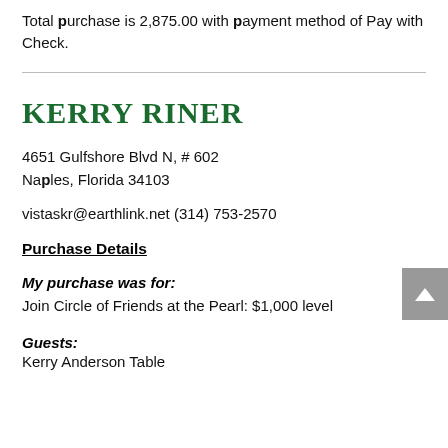Total purchase is 2,875.00 with payment method of Pay with Check.
KERRY RINER
4651 Gulfshore Blvd N, # 602
Naples, Florida 34103
vistaskr@earthlink.net (314) 753-2570
Purchase Details
My purchase was for:
Join Circle of Friends at the Pearl: $1,000 level
Guests:
Kerry Anderson Table